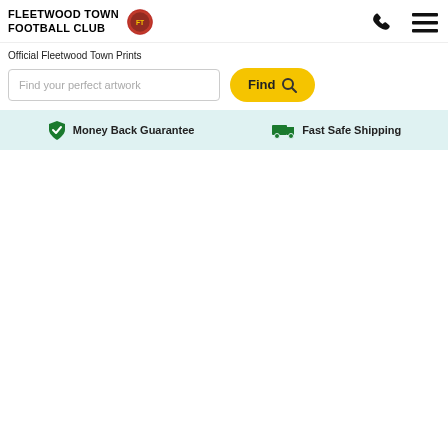FLEETWOOD TOWN FOOTBALL CLUB
Official Fleetwood Town Prints
Find your perfect artwork
Find
Money Back Guarantee  Fast Safe Shipping